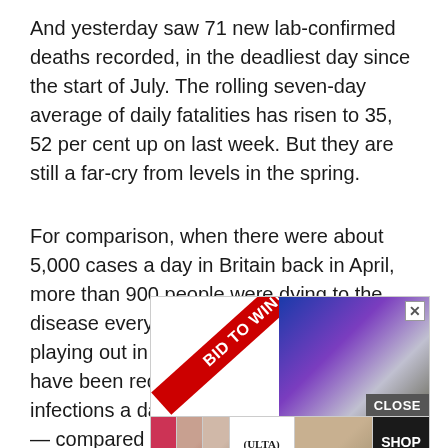And yesterday saw 71 new lab-confirmed deaths recorded, in the deadliest day since the start of July. The rolling seven-day average of daily fatalities has risen to 35, 52 per cent up on last week. But they are still a far-cry from levels in the spring.
For comparison, when there were about 5,000 cases a day in Britain back in April, more than 900 people were dying to the disease every 24 hours. A similar story is playing out in France and Spain, which have been recording up to 15,000 new infections a day but fewer than 300 deaths — compared to 900 during the first peak.
[Figure (other): Advertisement banner with 'BID TO WIN!' ribbon on red diagonal background on left side, and colorful geometric pattern on right side, with a CLOSE button at bottom right and X close button at top right.]
[Figure (other): ULTA beauty advertisement banner showing makeup photos and 'SHOP NOW' call to action button.]